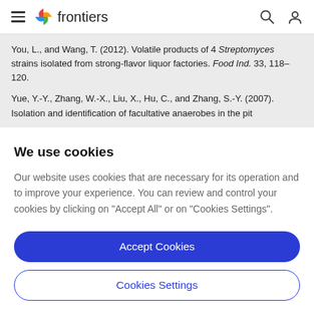frontiers (navigation bar with hamburger menu, logo, search and user icons)
You, L., and Wang, T. (2012). Volatile products of 4 Streptomyces strains isolated from strong-flavor liquor factories. Food Ind. 33, 118–120.
Yue, Y.-Y., Zhang, W.-X., Liu, X., Hu, C., and Zhang, S.-Y. (2007). Isolation and identification of facultative anaerobes in the pit
We use cookies
Our website uses cookies that are necessary for its operation and to improve your experience. You can review and control your cookies by clicking on "Accept All" or on "Cookies Settings".
Accept Cookies
Cookies Settings